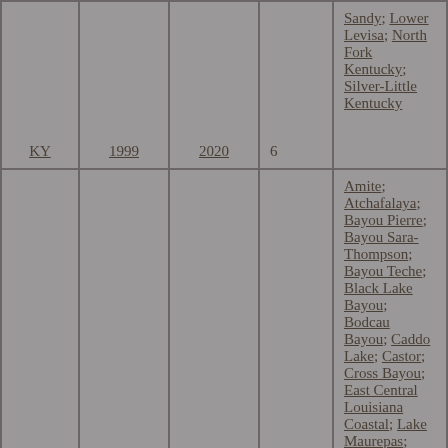| State | Year Joined | Year Updated | Count | Watersheds |
| --- | --- | --- | --- | --- |
| KY | 1999 | 2020 | 6 | Sandy; Lower Levisa; North Fork Kentucky; Silver-Little Kentucky |
| LA | 1973 | 2020 | 28 | Amite; Atchafalaya; Bayou Pierre; Bayou Sara-Thompson; Bayou Teche; Black Lake Bayou; Bodcau Bayou; Caddo Lake; Castor; Cross Bayou; East Central Louisiana Coastal; Lake Maurepas; Liberty Bayou-Tchefuncta; Loggy Bayou; Lower Calcasieu; Lower Grand; Lower Red; |